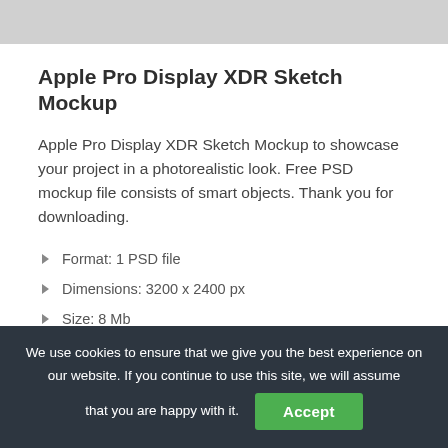[Figure (screenshot): Top gray bar area, partial UI screenshot]
Apple Pro Display XDR Sketch Mockup
Apple Pro Display XDR Sketch Mockup to showcase your project in a photorealistic look. Free PSD mockup file consists of smart objects. Thank you for downloading.
Format: 1 PSD file
Dimensions: 3200 x 2400 px
Size: 8 Mb
We use cookies to ensure that we give you the best experience on our website. If you continue to use this site, we will assume that you are happy with it.